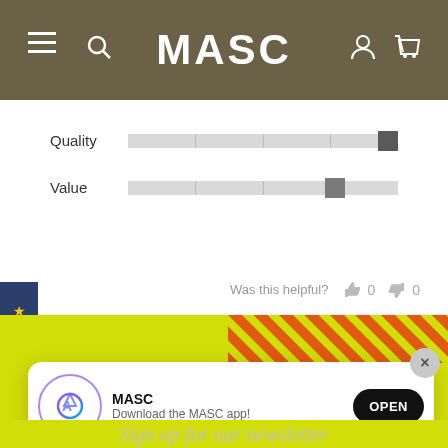[Figure (screenshot): MASC website header with logo, hamburger menu, search, user, and cart icons on dark brown background]
[Figure (infographic): Quality and Value slider bars showing review ratings. Quality slider is at maximum (rightmost), Value slider is at approximately 75%.]
Was this helpful? 0 0
[Figure (infographic): Reviews sidebar tab in dark blue with star icon and vertical REVIEWS text]
[Figure (infographic): Yellow promotional banner with diagonal orange/red stripes. Text: TAKING THE GUESSWORK OUT OF YOUR DAILY SKINCARE AND GROOMING RITUALS SINCE 2007]
[Figure (infographic): App download popup with App Store icon, MASC app name, 'Download the MASC app!' text, and OPEN button. Close X button in top right.]
Sign up for our newsletter